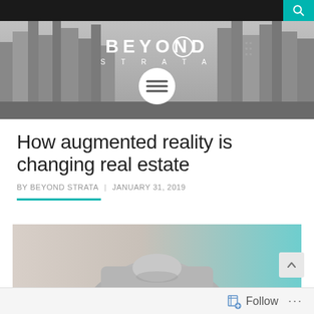[Figure (photo): Hero banner with black and white cityscape skyline photograph and Beyond Strata logo text centered, with white hamburger menu circle icon below]
How augmented reality is changing real estate
BY BEYOND STRATA  |  JANUARY 31, 2019
[Figure (photo): Partial photo of a person wearing a grey sweater, background shows teal/blue sky gradient, cropped mid-torso]